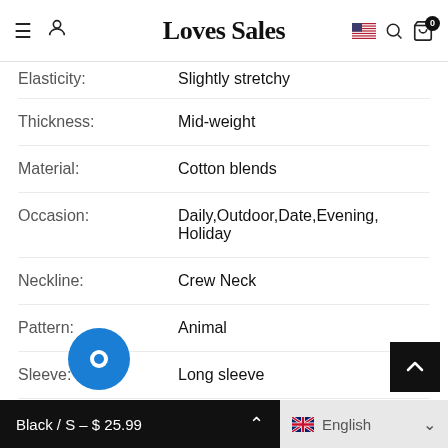Loves Sales
| Attribute | Value |
| --- | --- |
| Elasticity: | Slightly stretchy |
| Thickness: | Mid-weight |
| Material: | Cotton blends |
| Occasion: | Daily,Outdoor,Date,Evening,Holiday |
| Neckline: | Crew Neck |
| Pattern: | Animal |
| Sleeve: | Long sleeve |
| St... | Casual |
Black / S – $ 25.99  |  English